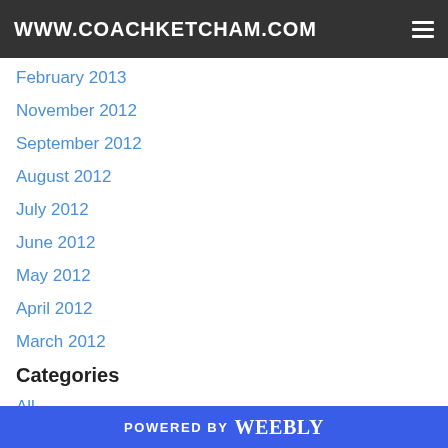WWW.COACHKETCHAM.COM
February 2013
November 2012
September 2012
August 2012
July 2012
June 2012
May 2012
April 2012
March 2012
Categories
All
(817)
America
Baseball
Bass Family
POWERED BY weebly